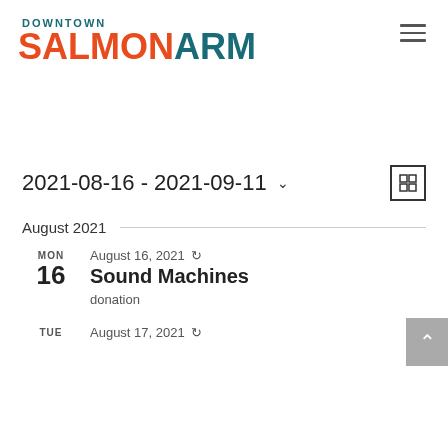DOWNTOWN SALMON ARM
2021-08-16 - 2021-09-11
August 2021
MON 16 | August 16, 2021 | Sound Machines | donation
TUE | August 17, 2021